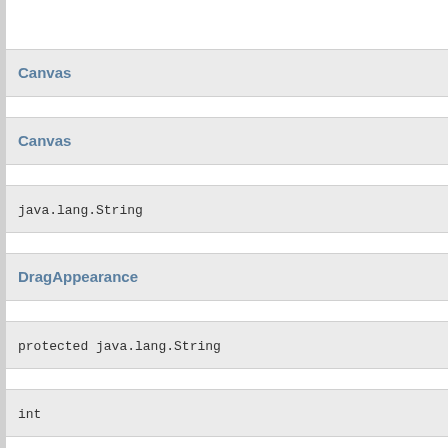Canvas
Canvas
java.lang.String
DragAppearance
protected java.lang.String
int
Canvas